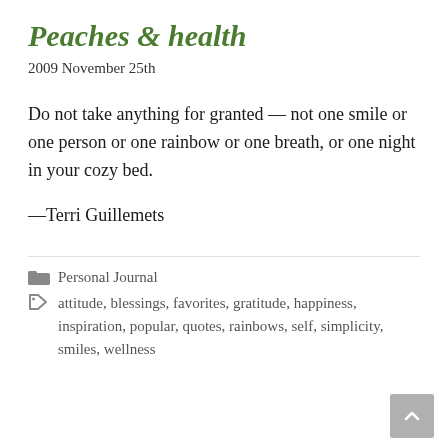Peaches & health
2009 November 25th
Do not take anything for granted — not one smile or one person or one rainbow or one breath, or one night in your cozy bed.
—Terri Guillemets
📁 Personal Journal
🏷 attitude, blessings, favorites, gratitude, happiness, inspiration, popular, quotes, rainbows, self, simplicity, smiles, wellness